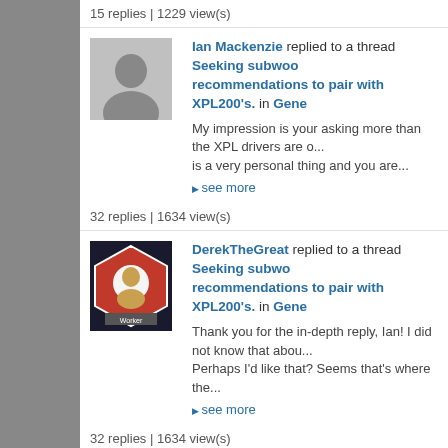15 replies | 1229 view(s)
Ian Mackenzie replied to a thread Seeking subwoofer recommendations to pair with XPL200's. in Gene...
My impression is your asking more than the XPL drivers are o... is a very personal thing and you are...
see more
32 replies | 1634 view(s)
DerekTheGreat replied to a thread Seeking subwoofer recommendations to pair with XPL200's. in Gene...
Thank you for the in-depth reply, Ian! I did not know that abou... Perhaps I'd like that? Seems that's where the...
see more
32 replies | 1634 view(s)
RMC replied to a thread Bgw amp plus eq for free in Professional Amps
As part of turntable stuff i posted last night i forgot to post the... assess cartridge tracking force. I have...
see more
497 replies | 335569 view(s)